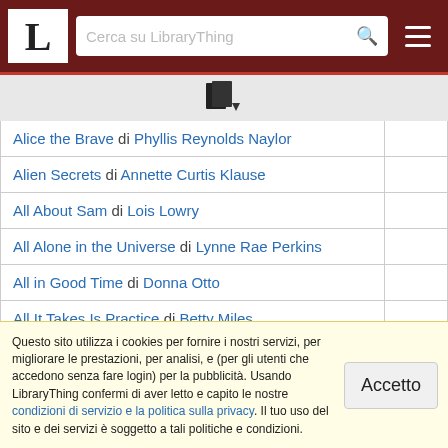LibraryThing - Cerca su LibraryThing
[Figure (logo): LibraryThing logo: letter L in serif font on white background, on dark red header bar with search field and hamburger menu]
| Book |  |
| --- | --- |
| Alice the Brave di Phyllis Reynolds Naylor |  |
| Alien Secrets di Annette Curtis Klause |  |
| All About Sam di Lois Lowry |  |
| All Alone in the Universe di Lynne Rae Perkins |  |
| All in Good Time di Donna Otto |  |
| All It Takes Is Practice di Betty Miles |  |
| The All New Jonah Twist di Natalie Honeycutt |  |
| All of the Above di Shelley Pearsall |  |
Questo sito utilizza i cookies per fornire i nostri servizi, per migliorare le prestazioni, per analisi, e (per gli utenti che accedono senza fare login) per la pubblicità. Usando LibraryThing confermi di aver letto e capito le nostre condizioni di servizio e la politica sulla privacy. Il tuo uso del sito e dei servizi è soggetto a tali politiche e condizioni.